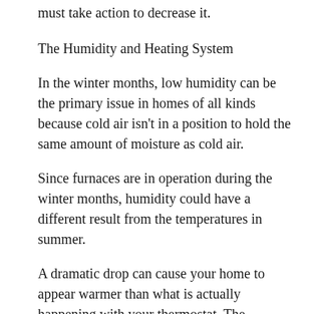must take action to decrease it.
The Humidity and Heating System
In the winter months, low humidity can be the primary issue in homes of all kinds because cold air isn’t in a position to hold the same amount of moisture as cold air.
Since furnaces are in operation during the winter months, humidity could have a different result from the temperatures in summer.
A dramatic drop can cause your home to appear warmer than what is actually happening with your thermostat. The temperature can drop to a point where your home